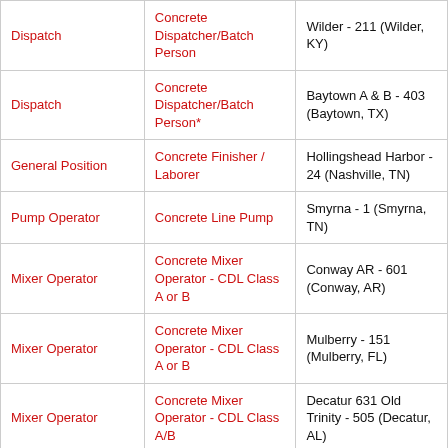| Category | Job Title | Location |
| --- | --- | --- |
| Dispatch | Concrete Dispatcher/Batch Person | Wilder - 211 (Wilder, KY) |
| Dispatch | Concrete Dispatcher/Batch Person* | Baytown A & B - 403 (Baytown, TX) |
| General Position | Concrete Finisher / Laborer | Hollingshead Harbor - 24 (Nashville, TN) |
| Pump Operator | Concrete Line Pump | Smyrna - 1 (Smyrna, TN) |
| Mixer Operator | Concrete Mixer Operator - CDL Class A or B | Conway AR - 601 (Conway, AR) |
| Mixer Operator | Concrete Mixer Operator - CDL Class A or B | Mulberry - 151 (Mulberry, FL) |
| Mixer Operator | Concrete Mixer Operator - CDL Class A/B | Decatur 631 Old Trinity - 505 (Decatur, AL) |
| Mixer Operator | Concrete Mixer Operator - CDL | Dothan - 501 |